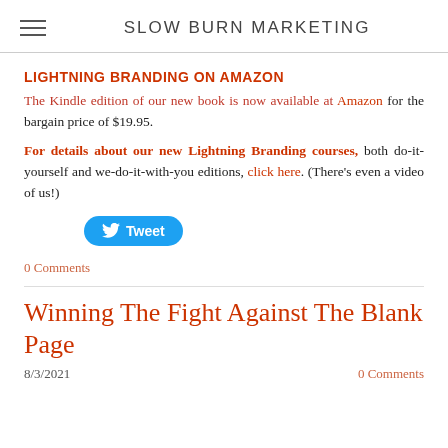SLOW BURN MARKETING
LIGHTNING BRANDING ON AMAZON
The Kindle edition of our new book is now available at Amazon for the bargain price of $19.95.
For details about our new Lightning Branding courses, both do-it-yourself and we-do-it-with-you editions, click here. (There's even a video of us!)
Tweet
0 Comments
Winning The Fight Against The Blank Page
8/3/2021 0 Comments